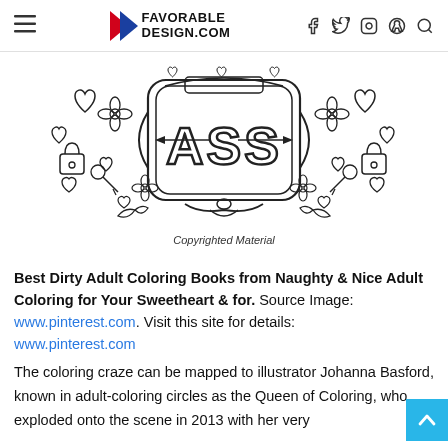FAVORABLE DESIGN.COM
[Figure (illustration): Coloring book page with decorative frame containing 'ASS' text, surrounded by hearts, flowers, keys, locks, and birds. Watermark reads 'Copyrighted Material'.]
Best Dirty Adult Coloring Books from Naughty & Nice Adult Coloring for Your Sweetheart & for. Source Image: www.pinterest.com. Visit this site for details: www.pinterest.com
The coloring craze can be mapped to illustrator Johanna Basford, known in adult-coloring circles as the Queen of Coloring, who exploded onto the scene in 2013 with her very